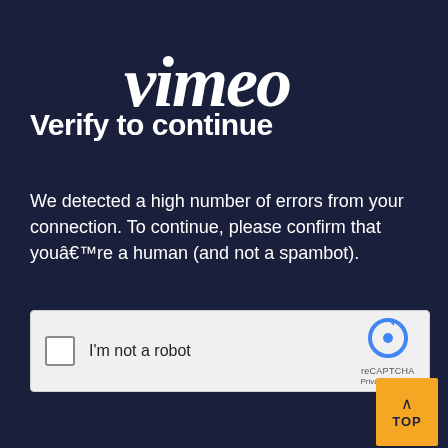[Figure (logo): Vimeo logo in white italic bold handwritten-style font on dark navy background]
Verify to continue
We detected a high number of errors from your connection. To continue, please confirm that youâ€™re a human (and not a spambot).
[Figure (screenshot): reCAPTCHA checkbox widget with 'I'm not a robot' label and reCAPTCHA logo with Privacy and Terms links]
[Figure (other): Orange 'TOP' button with upward caret arrow in bottom right corner]